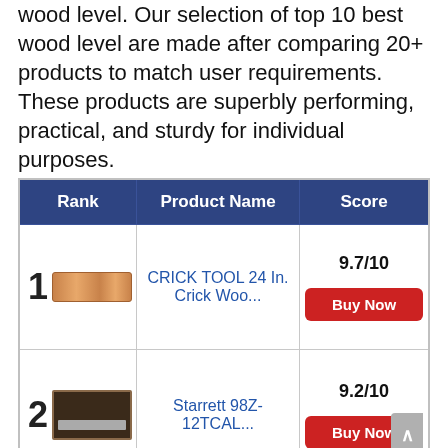wood level. Our selection of top 10 best wood level are made after comparing 20+ products to match user requirements. These products are superbly performing, practical, and sturdy for individual purposes.
| Rank | Product Name | Score |
| --- | --- | --- |
| 1 | CRICK TOOL 24 In. Crick Woo... | 9.7/10 |
| 2 | Starrett 98Z-12TCAL... | 9.2/10 |